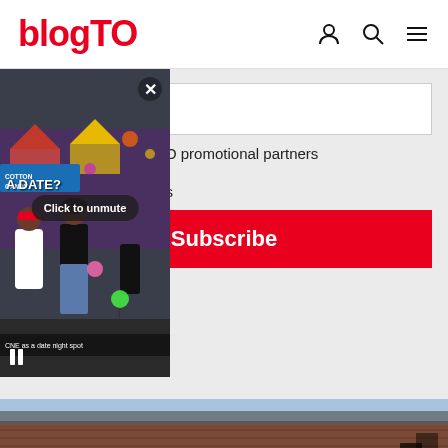blogTO
Email address
emails from blogTO promotional partners
blogTO newsletters
Subscribe
ribe anytime.
[Figure (photo): Video overlay showing people at the CNE fair. Overlay includes unmute button and 'A DATE?' text. Caption reads 'CNE as a date night spot'.]
[Figure (photo): Partial view of a brick building exterior with blue sky at the bottom of the page.]